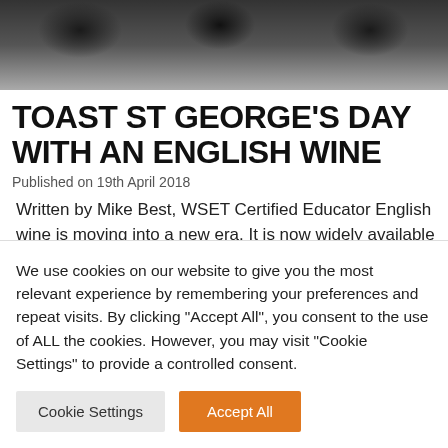[Figure (photo): Top portion of a photo showing wine glasses, dark blurred background]
TOAST ST GEORGE'S DAY WITH AN ENGLISH WINE
Published on 19th April 2018
Written by Mike Best, WSET Certified Educator English wine is moving into a new era. It is now widely available in retailers and restaurants and rising on the international stage. It is not without considerable effort that wine is produced here, as
We use cookies on our website to give you the most relevant experience by remembering your preferences and repeat visits. By clicking "Accept All", you consent to the use of ALL the cookies. However, you may visit "Cookie Settings" to provide a controlled consent.